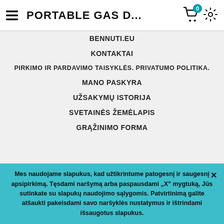≡ PORTABLE GAS D... 🛒0 ⚙
BENNUTI.EU
KONTAKTAI
PIRKIMO IR PARDAVIMO TAISYKLĖS. PRIVATUMO POLITIKA.
MANO PASKYRA
UŽSAKYMŲ ISTORIJA
SVETAINĖS ŽEMĖLAPIS
GRĄŽINIMO FORMA
Mes naudojame slapukus, kad užtikrintume patogesnį ir saugesnį apsipirkimą. Tęsdami naršymą arba paspausdami „X" mygtuką, Jūs sutinkate su slapukų naudojimo sąlygomis. Patvirtinimą galite atšaukti pakeisdami savo naršyklės nustatymus ir ištrindami išsaugotus slapukus.